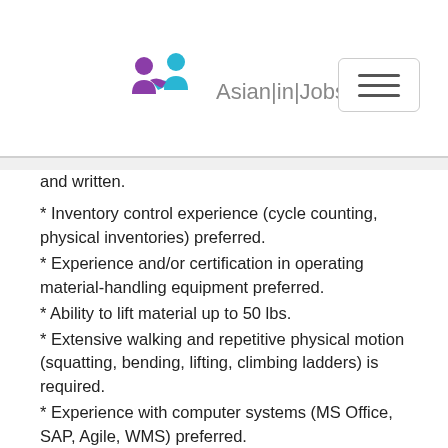Asian|in|Jobs
and written.
* Inventory control experience (cycle counting, physical inventories) preferred.
* Experience and/or certification in operating material-handling equipment preferred.
* Ability to lift material up to 50 lbs.
* Extensive walking and repetitive physical motion (squatting, bending, lifting, climbing ladders) is required.
* Experience with computer systems (MS Office, SAP, Agile, WMS) preferred.
* Certified to a minimum of 3 key material-handling tasks. Must consistently exceed efficiency standards and quality goals